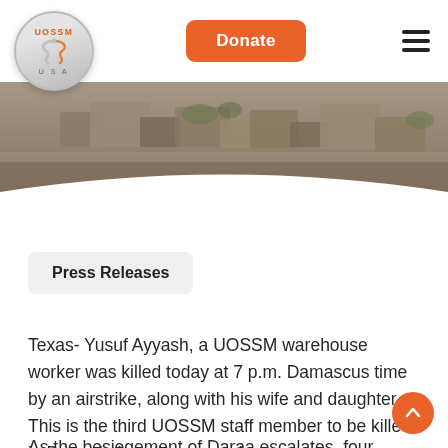[Figure (logo): UOSSM USA circular logo with snake/medical symbol in silver and orange text]
[Figure (other): Orange rounded-rectangle Donate button in header]
[Figure (photo): Hero banner image showing rubble/debris of a damaged building in sepia/muted tones with a curved white overlay at bottom]
Press Releases
Texas- Yusuf Ayyash, a UOSSM warehouse worker was killed today at 7 p.m. Damascus time by an airstrike, along with his wife and daughter. This is the third UOSSM staff member to be killed in Daraa in less than a week.
As the besiegement of Daraa escalates, four